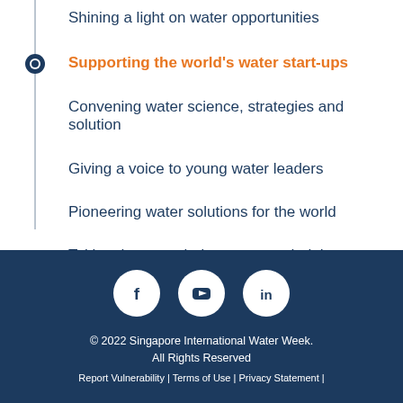Shining a light on water opportunities
Supporting the world's water start-ups
Convening water science, strategies and solution
Giving a voice to young water leaders
Pioneering water solutions for the world
Taking the water industry to new heights
[Figure (illustration): Social media icons: Facebook, YouTube, LinkedIn on dark navy background]
© 2022 Singapore International Water Week. All Rights Reserved
Report Vulnerability | Terms of Use | Privacy Statement |